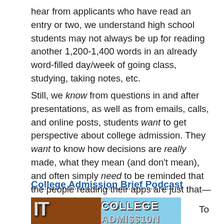hear from applicants who have read an entry or two, we understand high school students may not always be up for reading another 1,200-1,400 words in an already word-filled day/week of going class, studying, taking notes, etc.
Still, we know from questions in and after presentations, as well as from emails, calls, and online posts, students want to get perspective about college admission. They want to know how decisions are really made, what they mean (and don't mean), and often simply need to be reminded that the people reading their apps are just that—people.
College Admission Brief Podcast
[Figure (photo): Photo showing a college building with brick facade and a sign reading COLLEGE ADMISSION partially visible]
To